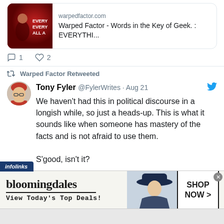[Figure (screenshot): Link preview card showing warpedfactor.com article about 'Warped Factor - Words in the Key of Geek. : EVERYTHI...' with a red movie poster image on the left]
1   2
Warped Factor Retweeted
Tony Fyler @FylerWrites · Aug 21
We haven't had this in political discourse in a longish while, so just a heads-up. This is what it sounds like when someone has mastery of the facts and is not afraid to use them.

S'good, isn't it?
infolinks
[Figure (screenshot): Bloomingdale's advertisement banner: 'bloomingdales - View Today's Top Deals!' with model in hat and SHOP NOW > button]